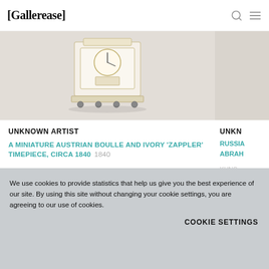[Gallerease]
[Figure (photo): Miniature Austrian Boulle and ivory clock/timepiece on small feet, photographed against a light gray-beige background]
UNKNOWN ARTIST
A MINIATURE AUSTRIAN BOULLE AND IVORY 'ZAPPLER' TIMEPIECE, CIRCA 1840  1840
GUDE & MEIS ANTIQUE CLOCKS AND MUSIC BOXES
€ 4.250
UNKN... RUSSIA ABRAH... KUNS... ICONS...
We use cookies to provide statistics that help us give you the best experience of our site. By using this site without changing your cookie settings, you are agreeing to our use of cookies.
COOKIE SETTINGS